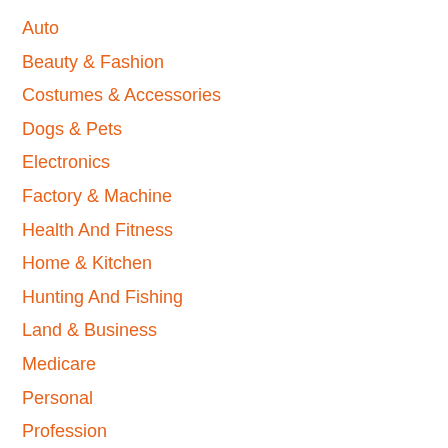Auto
Beauty & Fashion
Costumes & Accessories
Dogs & Pets
Electronics
Factory & Machine
Health And Fitness
Home & Kitchen
Hunting And Fishing
Land & Business
Medicare
Personal
Profession
Science & Technology
Sports & Outdoor